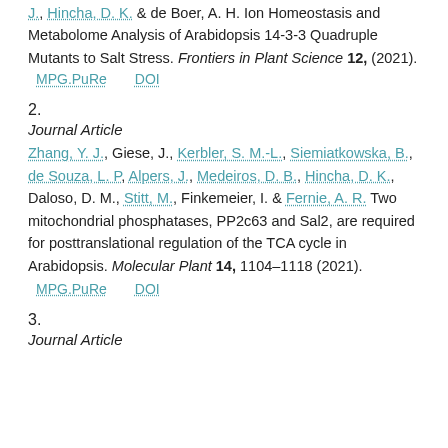J., Hincha, D. K. & de Boer, A. H. Ion Homeostasis and Metabolome Analysis of Arabidopsis 14-3-3 Quadruple Mutants to Salt Stress. Frontiers in Plant Science 12, (2021).
MPG.PuRe   DOI
2.
Journal Article
Zhang, Y. J., Giese, J., Kerbler, S. M.-L., Siemiatkowska, B., de Souza, L. P, Alpers, J., Medeiros, D. B., Hincha, D. K., Daloso, D. M., Stitt, M., Finkemeier, I. & Fernie, A. R. Two mitochondrial phosphatases, PP2c63 and Sal2, are required for posttranslational regulation of the TCA cycle in Arabidopsis. Molecular Plant 14, 1104–1118 (2021).
MPG.PuRe   DOI
3.
Journal Article